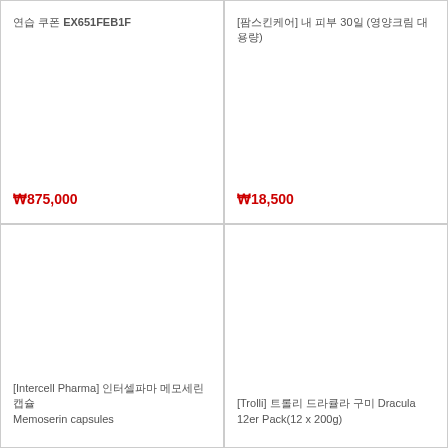연습 쿠폰 EX651FEB1F
₩875,000
[팜스킨케어] 내 피부 30일 (영양크림 대용량)
₩18,500
[Intercell Pharma] 인터셀파마 메모세린캡슐 Memoserin capsules
[Trolli] 트롤리 드라큘라 구미 Dracula 12er Pack(12 x 200g)